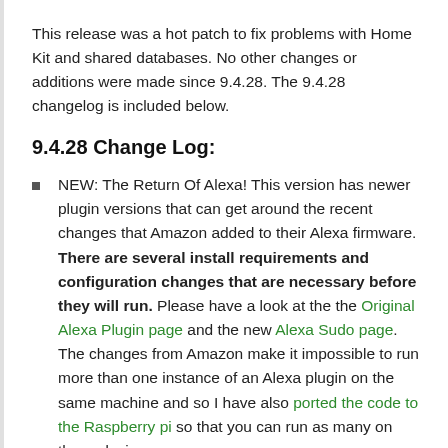This release was a hot patch to fix problems with Home Kit and shared databases. No other changes or additions were made since 9.4.28. The 9.4.28 changelog is included below.
9.4.28 Change Log:
NEW: The Return Of Alexa! This version has newer plugin versions that can get around the recent changes that Amazon added to their Alexa firmware. There are several install requirements and configuration changes that are necessary before they will run. Please have a look at the the Original Alexa Plugin page and the new Alexa Sudo page. The changes from Amazon make it impossible to run more than one instance of an Alexa plugin on the same machine and so I have also ported the code to the Raspberry pi so that you can run as many on those devices as